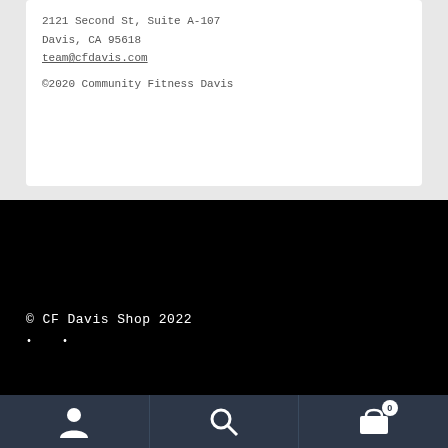2121 Second St, Suite A-107
Davis, CA 95618
team@cfdavis.com
©2020 Community Fitness Davis
© CF Davis Shop 2022
[Figure (screenshot): Bottom navigation bar with user/account icon, search icon, and shopping cart icon with badge showing 0]